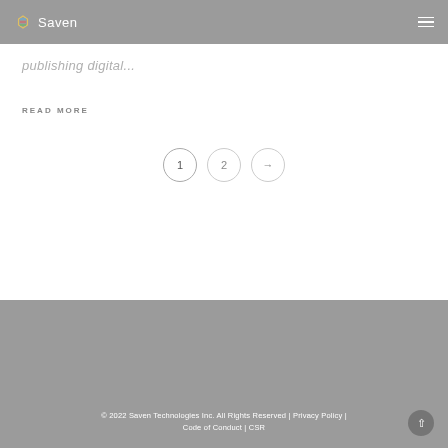Saven
publishing digital...
READ MORE
[Figure (other): Pagination controls showing page 1 (active), page 2, and a next arrow button, rendered as outlined circles]
© 2022 Saven Technologies Inc.  All Rights Reserved | Privacy Policy | Code of Conduct | CSR